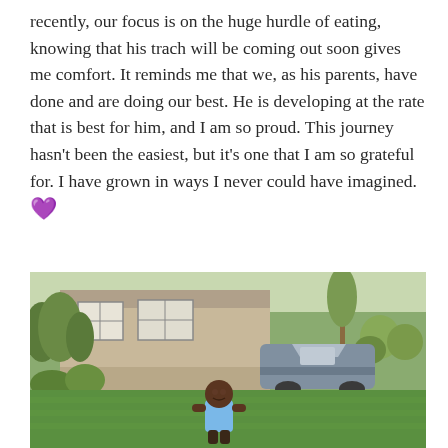recently, our focus is on the huge hurdle of eating, knowing that his trach will be coming out soon gives me comfort. It reminds me that we, as his parents, have done and are doing our best. He is developing at the rate that is best for him, and I am so proud. This journey hasn't been the easiest, but it's one that I am so grateful for. I have grown in ways I never could have imagined. 💜
[Figure (photo): A young toddler standing on a green lawn in front of a suburban house with a grey car parked in the driveway. The child is wearing a light blue shirt and appears to be smiling.]